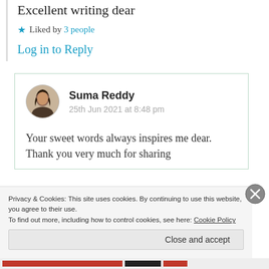Excellent writing dear
★ Liked by 3 people
Log in to Reply
Suma Reddy
25th Jun 2021 at 8:48 pm
Your sweet words always inspires me dear. Thank you very much for sharing
Privacy & Cookies: This site uses cookies. By continuing to use this website, you agree to their use.
To find out more, including how to control cookies, see here: Cookie Policy
Close and accept